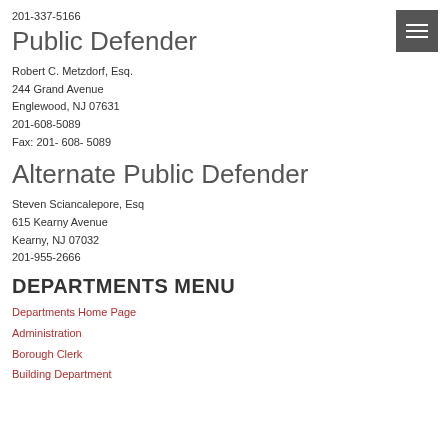201-337-5166
Public Defender
Robert C. Metzdorf, Esq.
244 Grand Avenue
Englewood, NJ 07631
201-608-5089
Fax: 201- 608- 5089
Alternate Public Defender
Steven Sciancalepore, Esq
615 Kearny Avenue
Kearny, NJ 07032
201-955-2666
DEPARTMENTS MENU
Departments Home Page
Administration
Borough Clerk
Building Department